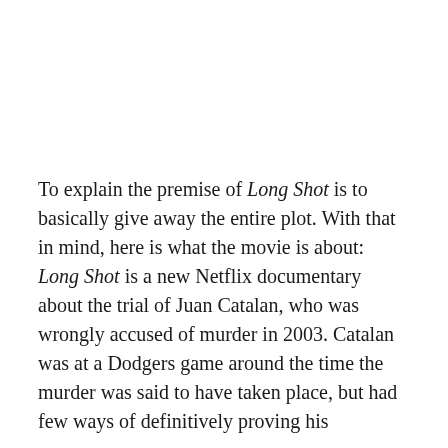To explain the premise of Long Shot is to basically give away the entire plot. With that in mind, here is what the movie is about: Long Shot is a new Netflix documentary about the trial of Juan Catalan, who was wrongly accused of murder in 2003. Catalan was at a Dodgers game around the time the murder was said to have taken place, but had few ways of definitively proving his